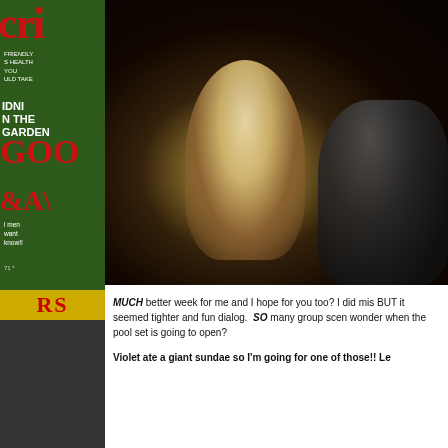[Figure (photo): Left column showing a magazine cover with red title letters partially visible ('cri'), text including 'MIDNIGHT IN THE GARDEN', 'GOO' and 'AV' in red, bottom section shows a store scene with yellow 'RS' letters and people photo in dark setting]
[Figure (photo): Dark scene photo showing blurred figures, one illuminated figure in center-left and a dark-haired figure on the right, against a very dark background with some greenery]
MUCH better week for me and I hope for you too? I did mis BUT it seemed tighter and fun dialog. SO many group scen wonder when the pool set is going to open?
Violet ate a giant sundae so I'm going for one of those!! Le